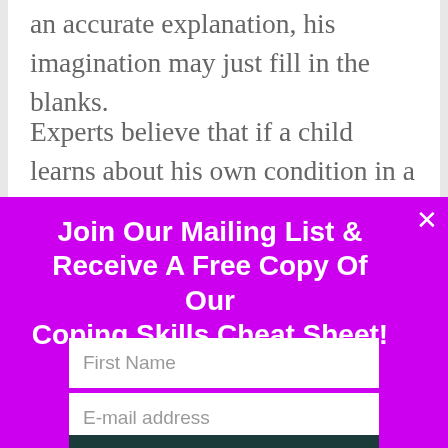an accurate explanation, his imagination may just fill in the blanks.
Experts believe that if a child learns about his own condition in a healthy manner, this builds an important foundation for a better life in the future. He knows what his challenges are, and he has a full
Join Our Mailing List & Receive A Free Copy Of Our Coping Skills Cheat Sheet!
First Name
E-mail address
SIGN ME UP